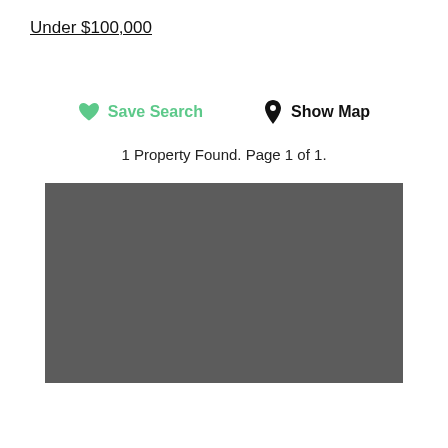Under $100,000
Save Search   Show Map
1 Property Found. Page 1 of 1.
[Figure (photo): Dark gray rectangular placeholder image for a property listing]